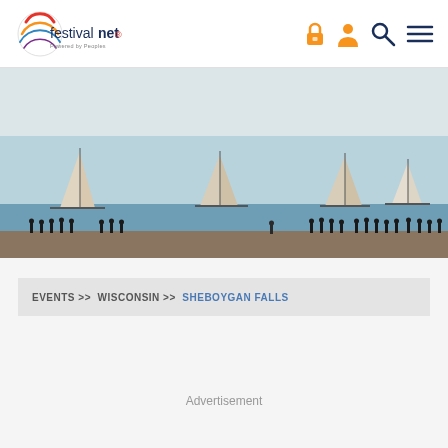festivalnet Powered by Peoples
[Figure (photo): Light gray banner area above sailboat photo]
[Figure (photo): Outdoor waterfront photo showing sailboats on a lake or sea with silhouettes of people standing on a pier in the foreground]
EVENTS >> WISCONSIN >> SHEBOYGAN FALLS
Advertisement